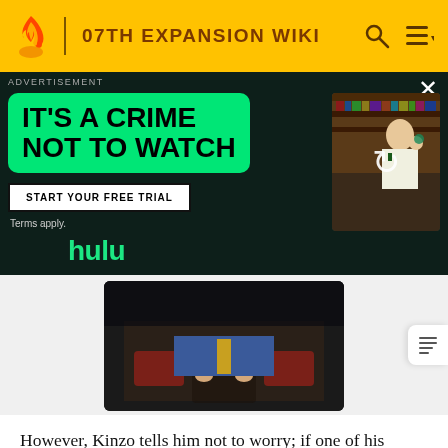07TH EXPANSION WIKI
[Figure (screenshot): Hulu advertisement banner with green box saying IT'S A CRIME NOT TO WATCH, START YOUR FREE TRIAL button, Terms apply text, hulu logo, and a video thumbnail of a person in a library]
[Figure (screenshot): Dark screenshot from a visual novel or anime showing a person's hands on a briefcase]
However, Kinzo tells him not to worry; if one of his grandchildren becomes acknowledged as worthy of the inheritance, then the ceremony will be suspended. Kinzo will administer a test to them, and tells Shannon not to hide the phone anymore, as he'd prepared it beforehand. Krauss is then ordered to call the grandchildren; if he